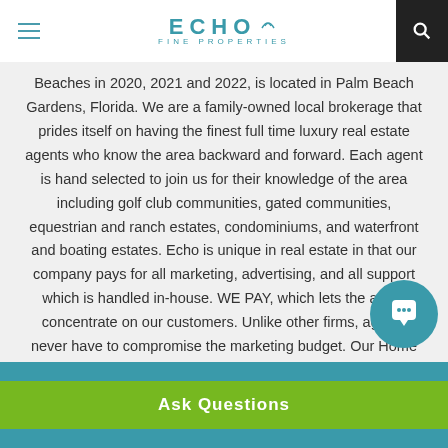ECHO FINE PROPERTIES
Beaches in 2020, 2021 and 2022, is located in Palm Beach Gardens, Florida. We are a family-owned local brokerage that prides itself on having the finest full time luxury real estate agents who know the area backward and forward. Each agent is hand selected to join us for their knowledge of the area including golf club communities, gated communities, equestrian and ranch estates, condominiums, and waterfront and boating estates. Echo is unique in real estate in that our company pays for all marketing, advertising, and all support which is handled in-house. WE PAY, which lets the agent concentrate on our customers. Unlike other firms, agents never have to compromise the marketing budget. Our Home ECHOnomics Guarantee offers an unheard of 57-promise. This website consists of 5 separate MLS feeds, giving accuracy ranging from Miami to Fort Lauderdale to Palm Beach to Martin County.
[Figure (other): Teal circular chat/message button overlay in bottom-right area]
Ask Questions